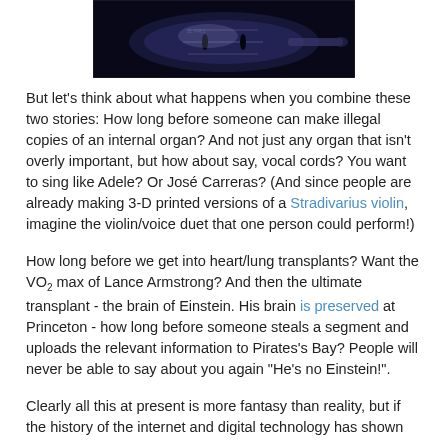[Figure (photo): An X-ray or CT scan image of a violin showing internal structure on dark background]
But let's think about what happens when you combine these two stories: How long before someone can make illegal copies of an internal organ? And not just any organ that isn't overly important, but how about say, vocal cords? You want to sing like Adele? Or José Carreras? (And since people are already making 3-D printed versions of a Stradivarius violin, imagine the violin/voice duet that one person could perform!)
How long before we get into heart/lung transplants? Want the VO₂ max of Lance Armstrong? And then the ultimate transplant - the brain of Einstein. His brain is preserved at Princeton - how long before someone steals a segment and uploads the relevant information to Pirates's Bay? People will never be able to say about you again "He's no Einstein!".
Clearly all this at present is more fantasy than reality, but if the history of the internet and digital technology has shown...